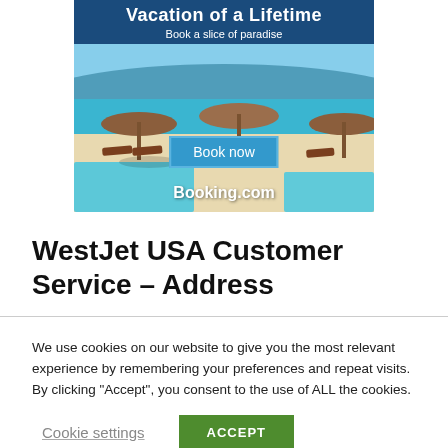[Figure (illustration): Booking.com advertisement banner showing a beach resort with thatched umbrellas, sun loungers, turquoise water, blue header with 'Vacation of a Lifetime' and 'Book a slice of paradise', a 'Book now' button, and 'Booking.com' branding.]
WestJet USA Customer Service – Address
We use cookies on our website to give you the most relevant experience by remembering your preferences and repeat visits. By clicking "Accept", you consent to the use of ALL the cookies.
Cookie settings | ACCEPT